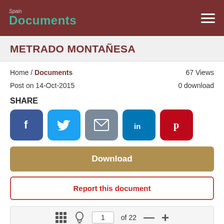Spain Documents
METRADO MONTAÑESA
Home / Documents
Post on 14-Oct-2015
67 Views
0 download
SHARE
[Figure (infographic): Social share buttons: Facebook, Twitter, Email, LinkedIn, Pinterest]
[Figure (infographic): Download button (gold/tan colored)]
[Figure (infographic): Report this document button (red outlined)]
[Figure (infographic): Document viewer toolbar showing grid icon, lightbulb icon, page 1 of 22, minus and plus buttons]